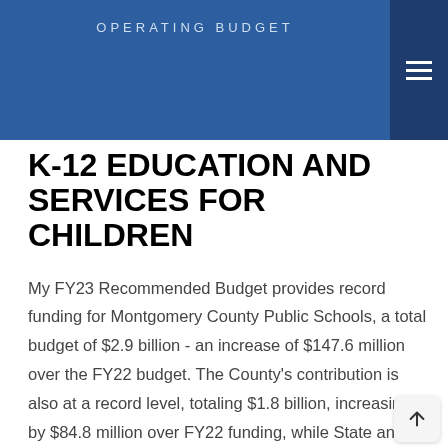OPERATING BUDGET
K-12 EDUCATION AND SERVICES FOR CHILDREN
My FY23 Recommended Budget provides record funding for Montgomery County Public Schools, a total budget of $2.9 billion - an increase of $147.6 million over the FY22 budget. The County's contribution is also at a record level, totaling $1.8 billion, increasing by $84.8 million over FY22 funding, while State and Federal funds increase by $41.5 million and $4.4 million, respectively.